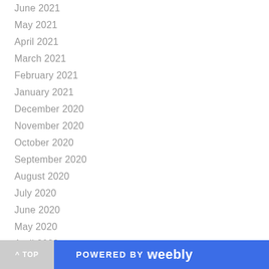June 2021
May 2021
April 2021
March 2021
February 2021
January 2021
December 2020
November 2020
October 2020
September 2020
August 2020
July 2020
June 2020
May 2020
April 2020
March 2020
February 2020
^ TOP    POWERED BY weebly